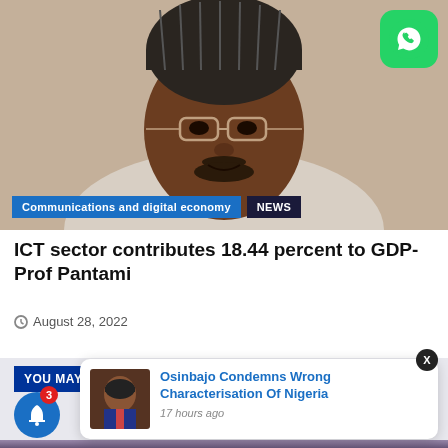[Figure (photo): Portrait photo of Prof. Pantami wearing a traditional cap (kufi) and glasses, smiling at camera. A WhatsApp icon is in the top-right corner. Category tags 'Communications and digital economy' and 'NEWS' appear at the bottom of the image.]
ICT sector contributes 18.44 percent to GDP- Prof Pantami
August 28, 2022
YOU MAY HAV
[Figure (photo): Thumbnail photo of Osinbajo in a popup notification card]
Osinbajo Condemns Wrong Characterisation Of Nigeria
17 hours ago